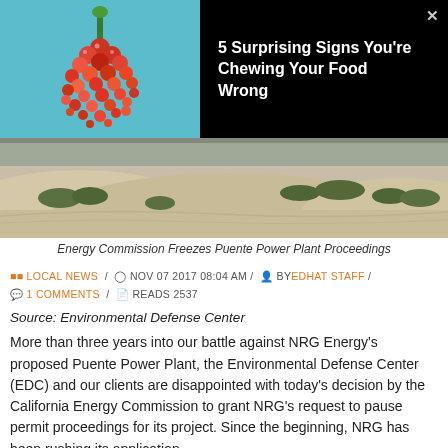[Figure (photo): Advertisement banner with berries on teal background on left, text on black background on right, X close button]
5 Surprising Signs You're Chewing Your Food Wrong
[Figure (photo): Sandy coastal dunes with green vegetation, wide landscape photo]
Energy Commission Freezes Puente Power Plant Proceedings
LOCAL NEWS / NOV 07 2017 08:04 AM / BYEDHAT STAFF / 1 COMMENTS / READS 2537
Source: Environmental Defense Center
More than three years into our battle against NRG Energy's proposed Puente Power Plant, the Environmental Defense Center (EDC) and our clients are disappointed with today's decision by the California Energy Commission to grant NRG's request to pause permit proceedings for its project. Since the beginning, NRG has been rushing its application...